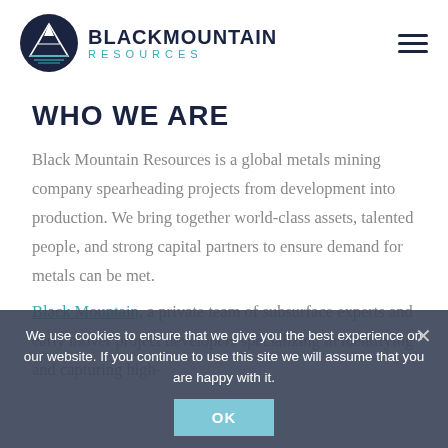[Figure (logo): Black Mountain Resources logo — circular mountain icon on left, bold dark navy text 'BLACK MOUNTAIN' on right with 'RESOURCES' in teal below]
WHO WE ARE
Black Mountain Resources is a global metals mining company spearheading projects from development into production. We bring together world-class assets, talented people, and strong capital partners to ensure demand for metals can be met.
Black Mountain, a private team of subsurface experts and early mover project developers specializing in identifying and capturing high-
We use cookies to ensure that we give you the best experience on our website. If you continue to use this site we will assume that you are happy with it.